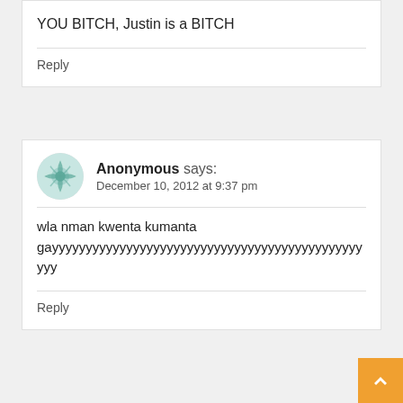YOU BITCH, Justin is a BITCH
Reply
[Figure (illustration): Anonymous user avatar - teal geometric flower/snowflake pattern in circle]
Anonymous says:
December 10, 2012 at 9:37 pm
wla nman kwenta kumanta gayyyyyyyyyyyyyyyyyyyyyyyyyyyyyyyyyyyyyyyyyyyyyy
yyy
Reply